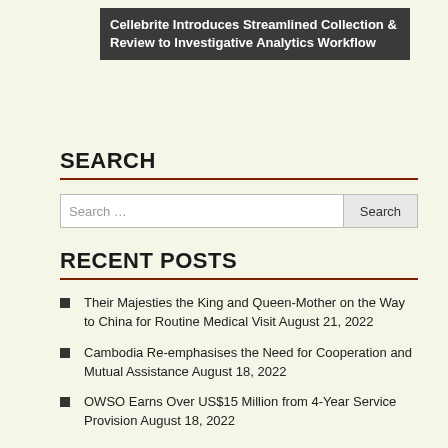Cellebrite Introduces Streamlined Collection & Review to Investigative Analytics Workflow
SEARCH
Search ...
RECENT POSTS
Their Majesties the King and Queen-Mother on the Way to China for Routine Medical Visit August 21, 2022
Cambodia Re-emphasises the Need for Cooperation and Mutual Assistance August 18, 2022
OWSO Earns Over US$15 Million from 4-Year Service Provision August 18, 2022